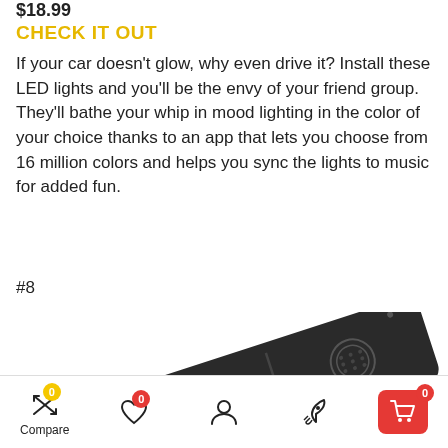$18.99
CHECK IT OUT
If your car doesn't glow, why even drive it? Install these LED lights and you'll be the envy of your friend group. They'll bathe your whip in mood lighting in the color of your choice thanks to an app that lets you choose from 16 million colors and helps you sync the lights to music for added fun.
#8
[Figure (photo): Bottom view of a black rectangular dashcam or smart rear-view mirror device, angled view showing its back panel with vents, ports, and speaker grille]
Compare (0) | Wishlist (0) | Account | Rocket | Cart (0)